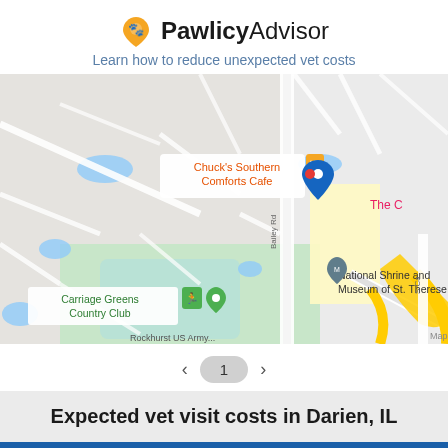[Figure (logo): PawlicyAdvisor logo with orange heart and paw print icon, followed by text 'PawlicyAdvisor']
Learn how to reduce unexpected vet costs
[Figure (map): Google Maps view showing area near Bailey Rd, featuring Chuck's Southern Comforts Cafe with a red location pin, Carriage Greens Country Club, National Shrine and Museum of St. Therese, N Frontage Rd, and highway interchange. 'The C' visible on right edge. 'Map' label bottom right.]
< 1 >
Expected vet visit costs in Darien, IL